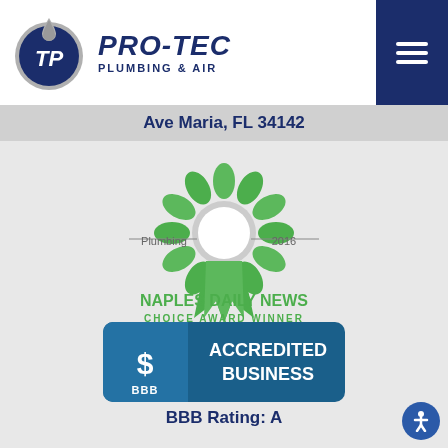[Figure (logo): Pro-Tec Plumbing & Air logo with blue circular emblem and company name]
Ave Maria, FL 34142
[Figure (illustration): Naples Daily News Choice Award Winner 2016 ribbon badge for Plumbing]
[Figure (logo): BBB Accredited Business badge with blue background and BBB logo]
BBB Rating: A